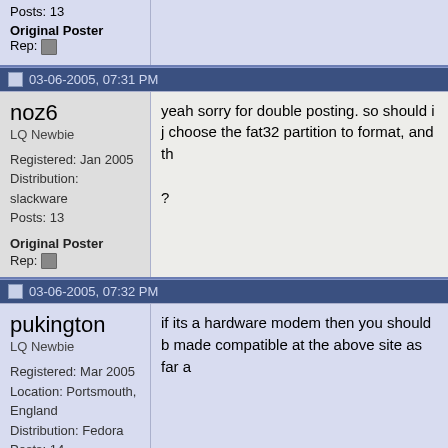Posts: 13
Original Poster
Rep:
03-06-2005, 07:31 PM
noz6
LQ Newbie
Registered: Jan 2005
Distribution: slackware
Posts: 13
Original Poster
Rep:
yeah sorry for double posting. so should i just choose the fat32 partition to format, and th
?
03-06-2005, 07:32 PM
pukington
LQ Newbie
Registered: Mar 2005
Location: Portsmouth, England
Distribution: Fedora
Posts: 14
Rep:
if its a hardware modem then you should b made compatible at the above site as far a